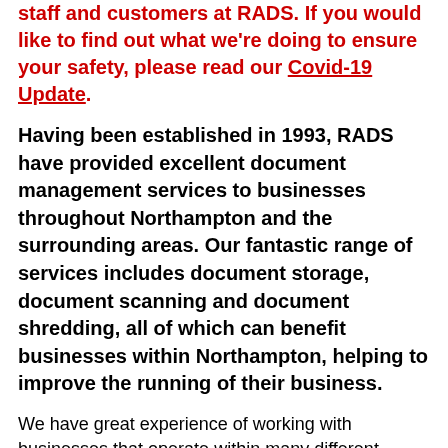staff and customers at RADS. If you would like to find out what we're doing to ensure your safety, please read our Covid-19 Update.
Having been established in 1993, RADS have provided excellent document management services to businesses throughout Northampton and the surrounding areas. Our fantastic range of services includes document storage, document scanning and document shredding, all of which can benefit businesses within Northampton, helping to improve the running of their business.
We have great experience of working with businesses that operate within many different sectors, meaning that we have handled many types of documents and pieces of information. We take a flexible approach to the work that we do, ensuring that we can meet any requirements that businesses have, and this is what we